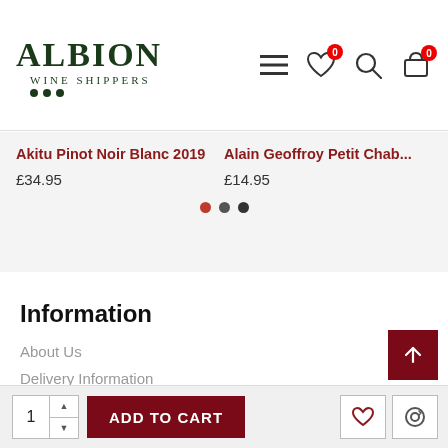ALBION WINE SHIPPERS
Akitu Pinot Noir Blanc 2019 — £34.95 | Alain Geoffroy Petit Chab... — £14.95
Information
About Us
Delivery Information
Privacy Policy
Terms & Conditions
Drinkaware
360 Tour